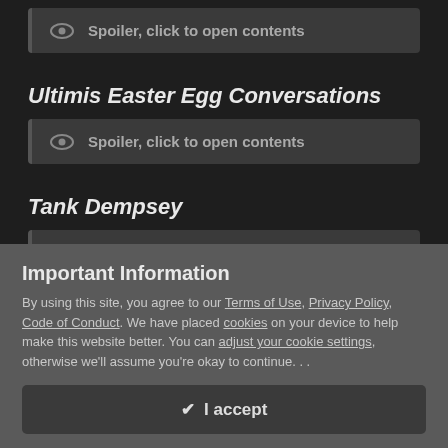[Figure (screenshot): Spoiler box at top with eye icon and text 'Spoiler, click to open contents']
Ultimis Easter Egg Conversations
[Figure (screenshot): Spoiler box with eye icon and text 'Spoiler, click to open contents']
Tank Dempsey
[Figure (screenshot): Spoiler box with eye icon and text 'Spoiler, click to open contents']
Important Information
By using this site, you agree to our Terms of Use, Privacy Policy, Code of Conduct. We have placed cookies on your device to help make this website better. You can adjust your cookie settings, otherwise we'll assume you're okay to continue. . .
✔ I accept